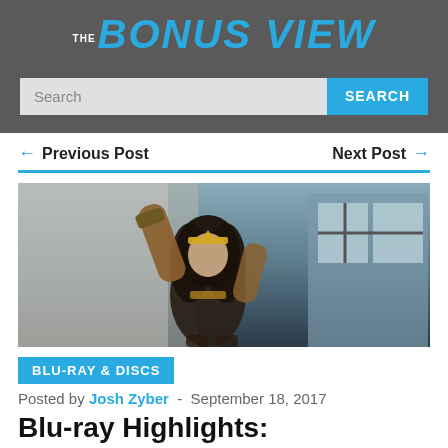THE BONUS VIEW
Search
← Previous Post    Next Post →
[Figure (photo): Woman in Wonder Woman costume posing with arms raised, dark hair, golden headband, in what appears to be a movie still]
BLU-RAY & DISCS
Posted by Josh Zyber  -  September 18, 2017
Blu-ray Highlights: Week of September